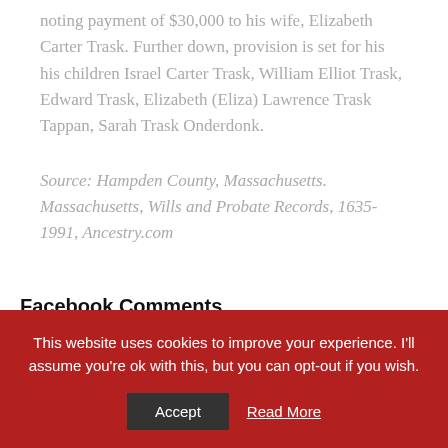noting payment of $30,000 to his wife, Elizabeth Carter Trask. Further down, provision is set for his his children Israel Carter Trask, William Elliot Trask, Edward Trask, Elizabeth (Eliza) Lawrence Trask Tappan, Sarah Trask Onderdonk.
Source: Hampden County, Massachusetts. Massachusetts, Wills and Probate Records, 1635-1991, Ancestry.com
Facebook Comments
This website uses cookies to improve your experience. I'll assume you're ok with this, but you can opt-out if you wish.
Accept
Read More